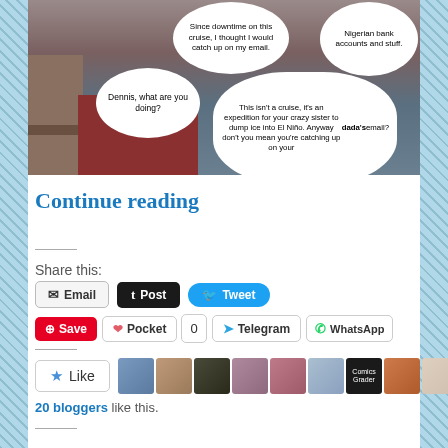[Figure (illustration): Comic strip image showing a scene on a ship/cruise vessel with speech bubbles. Characters speaking: 'Dennis, what are you doing?', 'Since downtime on this cruise, I thought I would catch up on my email.', 'Nigerian bank accounts and stuff.', 'This isn't a cruise, it's an expedition for your crazy sister to dump ice into El Niño. Anyway don't you mean you're catching up on your dada's email?']
Continue reading
Share this:
Email
Post
Tweet
Save
Pocket 0
Telegram
WhatsApp
20 bloggers like this.